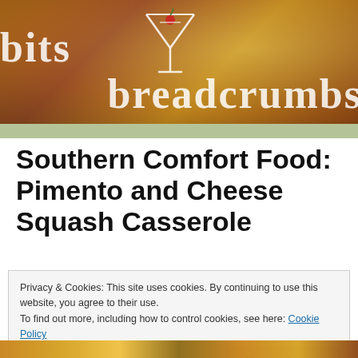[Figure (photo): Blog header banner with text 'bits' on left and 'breadcrumbs' on right, with a martini glass icon in the center, over a warm orange-brown food background with desserts]
Southern Comfort Food: Pimento and Cheese Squash Casserole
Privacy & Cookies: This site uses cookies. By continuing to use this website, you agree to their use.
To find out more, including how to control cookies, see here: Cookie Policy
[Figure (photo): Bottom strip showing a food casserole dish with golden cheesy topping]